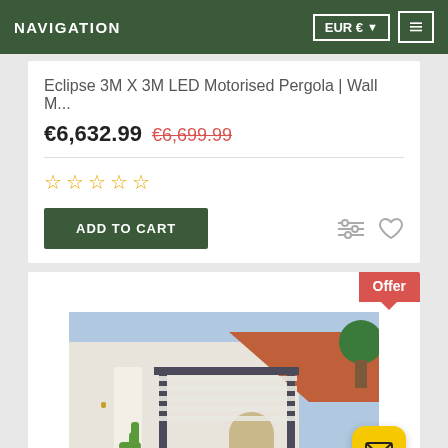NAVIGATION  EUR €  ☰
Eclipse 3M X 3M LED Motorised Pergola | Wall M...
€6,632.99 €6,699.99
☆ ☆ ☆ ☆ ☆
ADD TO CART
[Figure (photo): Partially visible product card with 'Offer' badge and a photo of a motorised pergola structure with white building and terracotta roof in background. Yellow email/chat button visible in bottom right.]